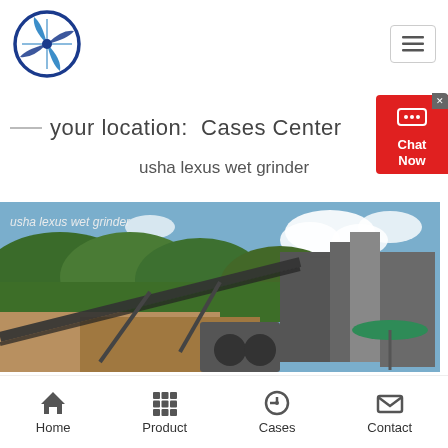[Figure (logo): Blue circular logo with cross/fan blade design inside, brand logo for the website]
your location:  Cases Center
usha lexus wet grinder
[Figure (photo): Industrial mining/quarrying facility with conveyor belts, machinery, trees in background, and a green umbrella visible. Text overlay reads 'usha lexus wet grinder']
Home  Product  Cases  Contact